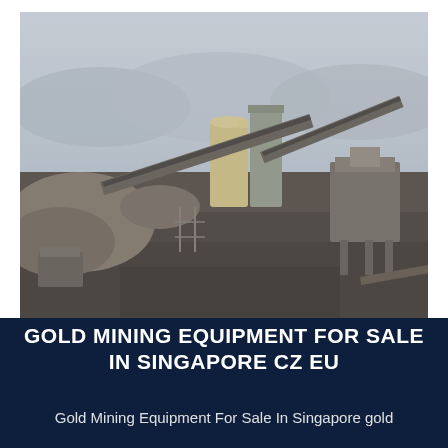[Figure (photo): Aerial view of a large industrial gold mining equipment site with conveyor belts, silos, crushing machinery, piles of excavated rock and earth, under a hazy sky with mountains in the background.]
GOLD MINING EQUIPMENT FOR SALE IN SINGAPORE CZ EU
Gold Mining Equipment For Sale In Singapore gold